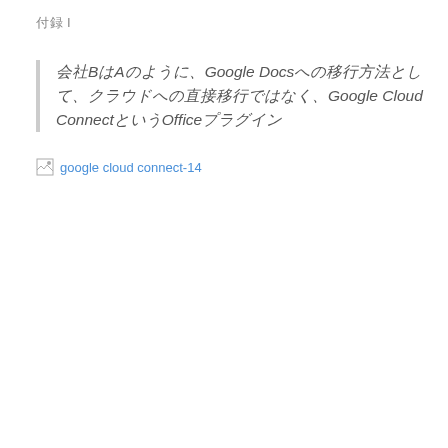付録 I
会社BはAのように、Google Docsへの移行方法として、クラウドへの直接移行ではなく、Google Cloud ConnectというOfficeプラグイン
[Figure (other): Broken image placeholder with alt text 'google cloud connect-14']